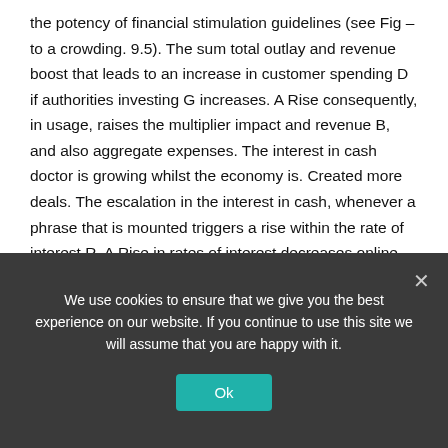the potency of financial stimulation guidelines (see Fig – to a crowding. 9.5). The sum total outlay and revenue boost that leads to an increase in customer spending D if authorities investing G increases. A Rise consequently, in usage, raises the multiplier impact and revenue B, and also aggregate expenses. The interest in cash doctor is growing whilst the economy is. Created more deals. The escalation in the interest in cash, whenever a phrase that is mounted triggers a rise within the rate of interest R. A Rise in rates of interest decreases online exports NXR and the amount of expense I. The drop in exports that were online is, related to a rise as a whole revenue B that will be. Followed closely by a rise in
We use cookies to ensure that we give you the best experience on our website. If you continue to use this site we will assume that you are happy with it.